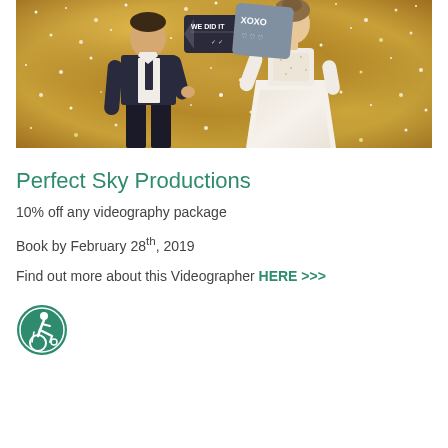[Figure (photo): Wedding couple posing against a gold glitter/sequin backdrop. The groom is on the left wearing a dark vest and white shirt, the bride on the right in a white sparkly dress. Both are holding decorative signs — the groom holds an arrow-shaped sign reading 'WE DID IT' and the bride holds a heart-shaped sign reading 'XOXO'.]
Perfect Sky Productions
10% off any videography package
Book by February 28th, 2019
Find out more about this Videographer HERE >>>
[Figure (logo): Round green accessibility/wheelchair icon — a circular green border with a stylized person figure in white, leaning forward as if active.]